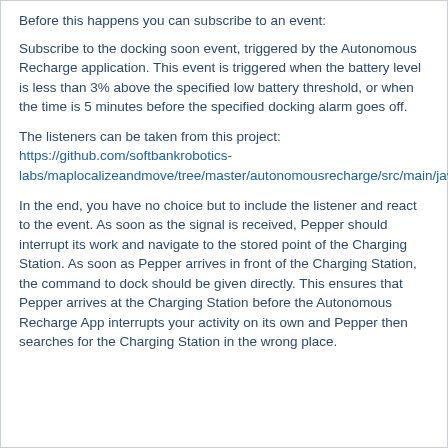Before this happens you can subscribe to an event:
Subscribe to the docking soon event, triggered by the Autonomous Recharge application. This event is triggered when the battery level is less than 3% above the specified low battery threshold, or when the time is 5 minutes before the specified docking alarm goes off.
The listeners can be taken from this project:
https://github.com/softbankrobotics-labs/maplocalizeandmove/tree/master/autonomousrecharge/src/main/java/com/aldebaran/qi/sdk/autonomousrecharge
In the end, you have no choice but to include the listener and react to the event. As soon as the signal is received, Pepper should interrupt its work and navigate to the stored point of the Charging Station. As soon as Pepper arrives in front of the Charging Station, the command to dock should be given directly. This ensures that Pepper arrives at the Charging Station before the Autonomous Recharge App interrupts your activity on its own and Pepper then searches for the Charging Station in the wrong place.